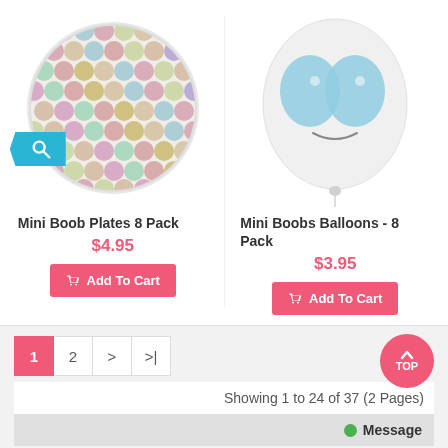[Figure (photo): Round plate with colorful boob-print pattern tiles, with a blue search icon badge on bottom left]
Mini Boob Plates 8 Pack
$4.95
Add To Cart
[Figure (photo): White balloon with blue boob illustration printed on it]
Mini Boobs Balloons - 8 Pack
$3.95
Add To Cart
1  2  >  >|
Showing 1 to 24 of 37 (2 Pages)
Message